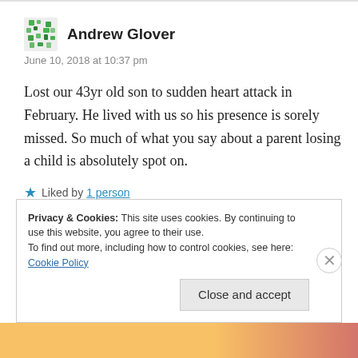Andrew Glover
June 10, 2018 at 10:37 pm
Lost our 43yr old son to sudden heart attack in February. He lived with us so his presence is sorely missed. So much of what you say about a parent losing a child is absolutely spot on.
★ Liked by 1 person
Privacy & Cookies: This site uses cookies. By continuing to use this website, you agree to their use.
To find out more, including how to control cookies, see here:
Cookie Policy

Close and accept